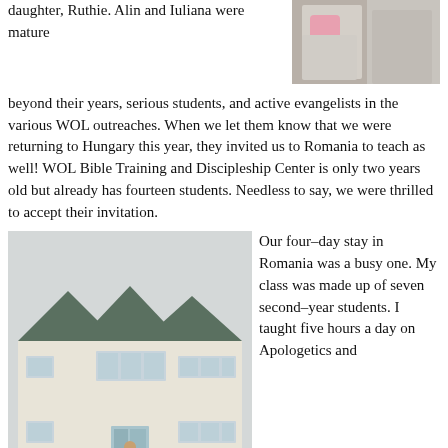[Figure (photo): Photo of people, partially visible at top right of page]
daughter, Ruthie. Alin and Iuliana were mature beyond their years, serious students, and active evangelists in the various WOL outreaches. When we let them know that we were returning to Hungary this year, they invited us to Romania to teach as well! WOL Bible Training and Discipleship Center is only two years old but already has fourteen students. Needless to say, we were thrilled to accept their invitation.
[Figure (photo): Photo of a large two-story white building with green roof and multiple gabled rooflines, a person standing in front of the entrance]
Our four–day stay in Romania was a busy one. My class was made up of seven second–year students. I taught five hours a day on Apologetics and Worldviews as well as a one hour chapel that challenged our very capable translator, Wanna. She had an amazing ability to translate difficult abstract ideas from English into Romanian. Her skills became evident as the students asked pertinent questions that demonstrated